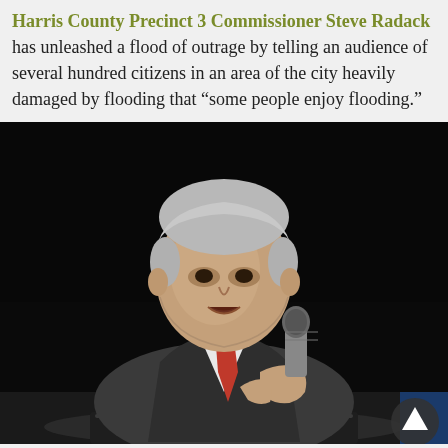Harris County Precinct 3 Commissioner Steve Radack has unleashed a flood of outrage by telling an audience of several hundred citizens in an area of the city heavily damaged by flooding that “some people enjoy flooding.”
[Figure (photo): A man in a gray suit with a red tie speaks into a handheld microphone on a dark stage, photographed from below looking up. He appears to be a middle-aged to older white male with light gray hair. A scroll-up button icon is visible in the bottom right corner.]